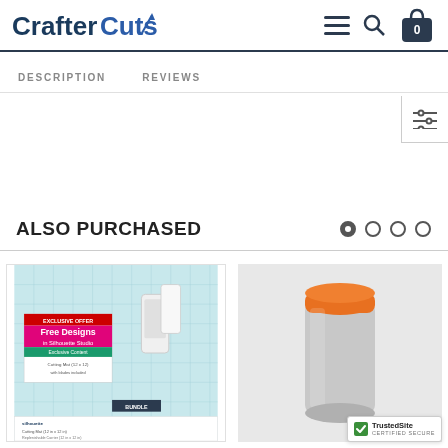CrafterCuts
DESCRIPTION
REVIEWS
ALSO PURCHASED
[Figure (photo): Silhouette cutting mat and accessories product photo]
[Figure (photo): Roll/cylinder product on grey background]
[Figure (logo): TrustedSite CERTIFIED SECURE badge]